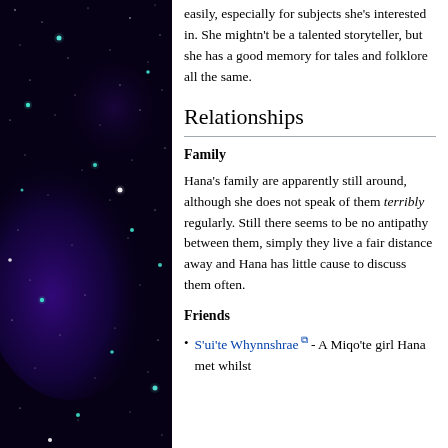[Figure (illustration): Dark starry night sky background with purple nebula and teal/cyan stars, used as decorative left panel of a wiki-style page.]
easily, especially for subjects she's interested in. She mightn't be a talented storyteller, but she has a good memory for tales and folklore all the same.
Relationships
Family
Hana's family are apparently still around, although she does not speak of them terribly regularly. Still there seems to be no antipathy between them, simply they live a fair distance away and Hana has little cause to discuss them often.
Friends
S'ui'te Whynnshrae - A Miqo'te girl Hana met whilst